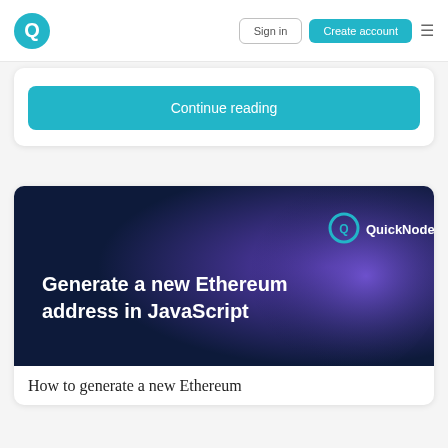QuickNode — Sign in | Create account
[Figure (logo): QuickNode logo — cyan Q letter mark]
Continue reading
[Figure (illustration): Dark blue and purple gradient banner with QuickNode logo and text: Generate a new Ethereum address in JavaScript]
How to generate a new Ethereum